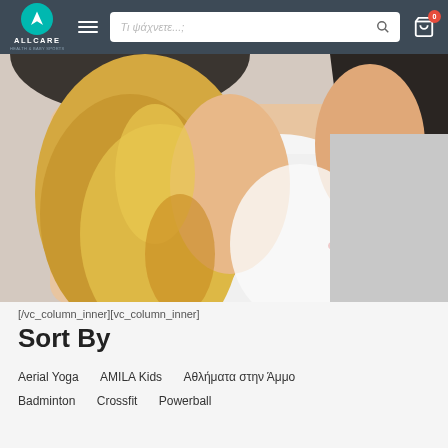ALLCARE — navigation header with logo, hamburger menu, search box, and cart icon
[Figure (photo): Woman with long blonde wavy hair wearing a white outfit, photographed from behind/side, holding something dark with red-painted fingernails, against a light grey background.]
[/vc_column_inner][vc_column_inner]
Sort By
Aerial Yoga   AMILA Kids   Αθλήματα στην Άμμο
Badminton   Crossfit   Powerball